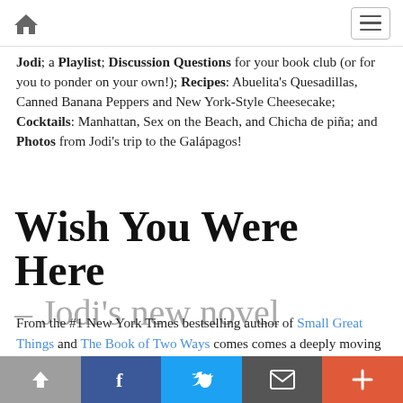[home icon] [menu icon]
Jodi; a Playlist; Discussion Questions for your book club (or for you to ponder on your own!); Recipes: Abuelita's Quesadillas, Canned Banana Peppers and New York-Style Cheesecake; Cocktails: Manhattan, Sex on the Beach, and Chicha de piña; and Photos from Jodi's trip to the Galápagos!
Wish You Were Here – Jodi's new novel
From the #1 New York Times bestselling author of Small Great Things and The Book of Two Ways comes comes a deeply moving novel about the resilience of the human
[share] [facebook] [twitter] [email] [more]